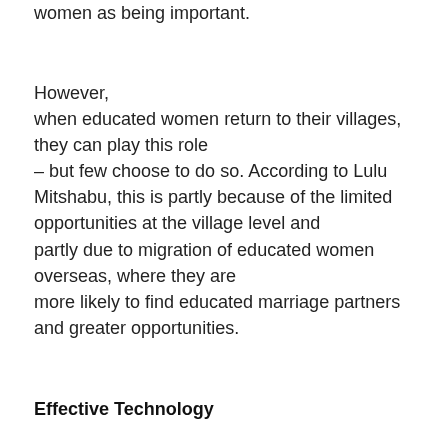women as being important.
However, when educated women return to their villages, they can play this role – but few choose to do so. According to Lulu Mitshabu, this is partly because of the limited opportunities at the village level and partly due to migration of educated women overseas, where they are more likely to find educated marriage partners and greater opportunities.
Effective Technology